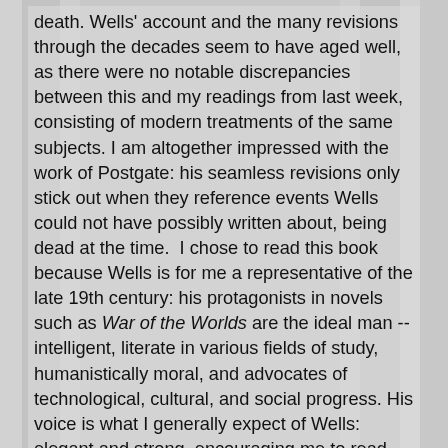death. Wells' account and the many revisions through the decades seem to have aged well, as there were no notable discrepancies between this and my readings from last week, consisting of modern treatments of the same subjects. I am altogether impressed with the work of Postgate: his seamless revisions only stick out when they reference events Wells could not have possibly written about, being dead at the time.  I chose to read this book because Wells is for me a representative of the late 19th century: his protagonists in novels such as War of the Worlds are the ideal man -- intelligent, literate in various fields of study, humanistically moral, and advocates of technological, cultural, and social progress. His voice is what I generally expect of Wells: elegant and strong, encouraging me to read sections of the narrative aloud and savor the flow of his sentences and the texture of his word choices. It was such a reading on the Punic Wars that an offhand joke -- completely unexpected from such a 'serious' author as Wells -- startled me into laughter that did not abate for several minutes. Though an intellectual, Wells is not above a sly remark or two.